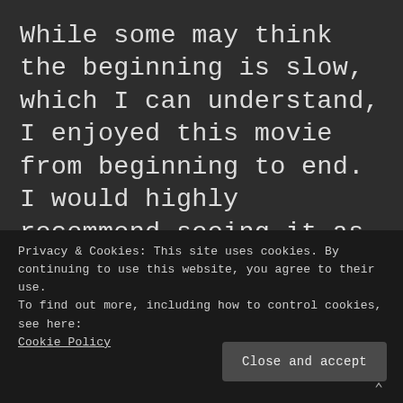While some may think the beginning is slow, which I can understand, I enjoyed this movie from beginning to end. I would highly recommend seeing it as soon as possible. Just an FYI, you must stay through the rolling credits for the big post-credit scenes. They are both incredibly important for the future of not only Spider-Man, but the MCU as a whole moving forward.
Privacy & Cookies: This site uses cookies. By continuing to use this website, you agree to their use.
To find out more, including how to control cookies, see here:
Cookie Policy
Close and accept